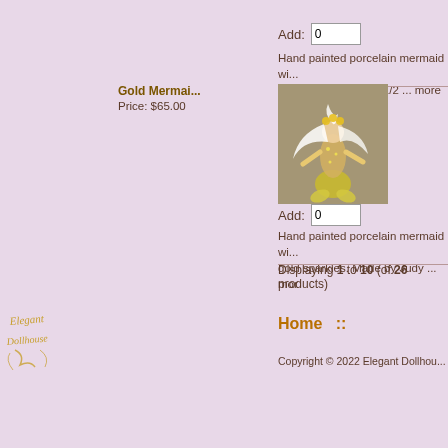Add: 0
Hand painted porcelain mermaid wi... Judy Orr. Approx. 5 1/2 ... more inf
[Figure (photo): Gold mermaid doll figure with white hair and gold sparkly outfit]
Gold Mermai...
Price: $65.00
Add: 0
Hand painted porcelain mermaid wi... gold sparkles. Made by Judy ... mor
Displaying 1 to 10 (of 26 products)
[Figure (logo): Elegant Dollhouse decorative script logo]
Home ::
Copyright © 2022 Elegant Dollhou...